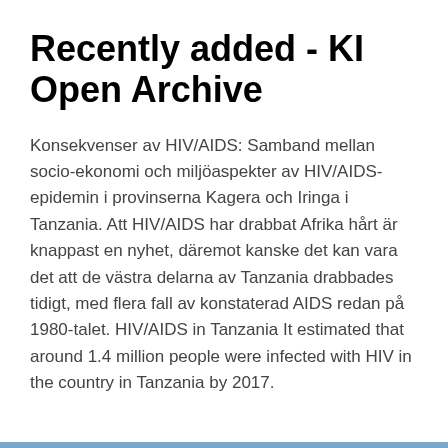Recently added - KI Open Archive
Konsekvenser av HIV/AIDS: Samband mellan socio-ekonomi och miljöaspekter av HIV/AIDS-epidemin i provinserna Kagera och Iringa i Tanzania. Att HIV/AIDS har drabbat Afrika hårt är knappast en nyhet, däremot kanske det kan vara det att de västra delarna av Tanzania drabbades tidigt, med flera fall av konstaterad AIDS redan på 1980-talet. HIV/AIDS in Tanzania It estimated that around 1.4 million people were infected with HIV in the country in Tanzania by 2017.